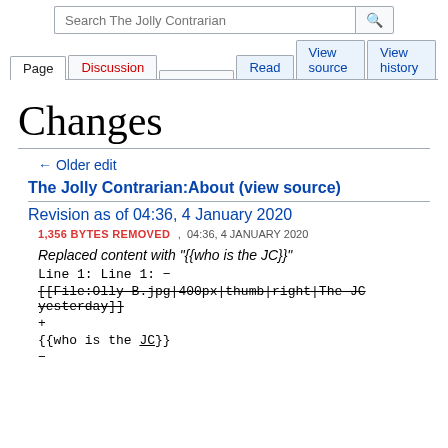Search The Jolly Contrarian | Page | Discussion | Read | View source | View history
Changes
← Older edit
The Jolly Contrarian:About (view source)
Revision as of 04:36, 4 January 2020
1,356 BYTES REMOVED , 04:36, 4 JANUARY 2020
Replaced content with "{{who is the JC}}"
Line 1: Line 1: −
[[File:Olly B.jpg|400px|thumb|right|The JC yesterday]]
+
{{who is the JC}}
−